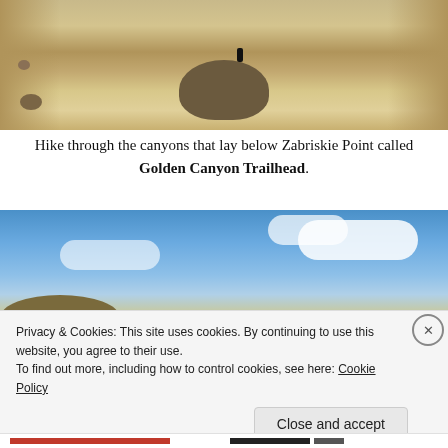[Figure (photo): Desert canyon landscape with large rounded boulder and a person standing on top, sandy eroded canyon walls on both sides, arid terrain.]
Hike through the canyons that lay below Zabriskie Point called Golden Canyon Trailhead.
[Figure (photo): Blue sky with white clouds over desert hills, landscape view with sandy hill ridgelines at the bottom.]
Privacy & Cookies: This site uses cookies. By continuing to use this website, you agree to their use.
To find out more, including how to control cookies, see here: Cookie Policy